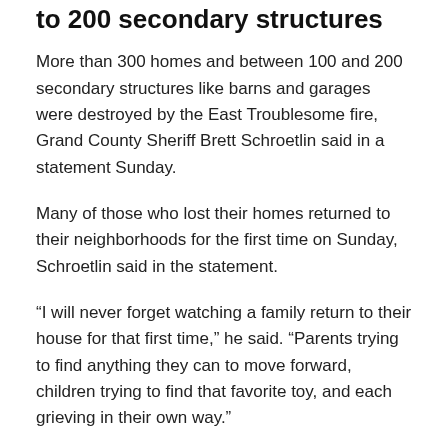to 200 secondary structures
More than 300 homes and between 100 and 200 secondary structures like barns and garages were destroyed by the East Troublesome fire, Grand County Sheriff Brett Schroetlin said in a statement Sunday.
Many of those who lost their homes returned to their neighborhoods for the first time on Sunday, Schroetlin said in the statement.
“I will never forget watching a family return to their house for that first time,” he said. “Parents trying to find anything they can to move forward, children trying to find that favorite toy, and each grieving in their own way.”